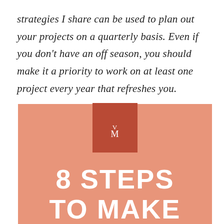strategies I share can be used to plan out your projects on a quarterly basis. Even if you don't have an off season, you should make it a priority to work on at least one project every year that refreshes you.
[Figure (infographic): Salmon/peach colored infographic block with a dark red logo box at the top center containing stylized letters V and M, followed by large white bold text reading '8 STEPS' and 'TO MAKE']